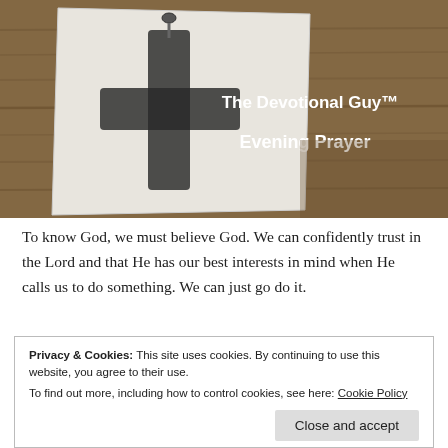[Figure (photo): Photograph of a paper with a cross drawn on it pinned to a weathered wooden surface. Text overlay reads 'The Devotional Guy™' and 'Evening Prayer' in white bold text.]
To know God, we must believe God. We can confidently trust in the Lord and that He has our best interests in mind when He calls us to do something. We can just go do it.
Privacy & Cookies: This site uses cookies. By continuing to use this website, you agree to their use.
To find out more, including how to control cookies, see here: Cookie Policy
Close and accept
Heavenly Father, God Most High, help me remain